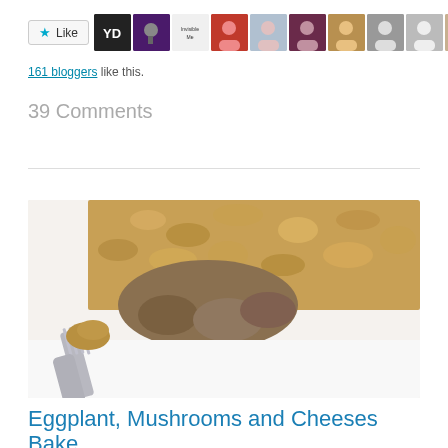[Figure (infographic): Like button widget with star icon and label 'Like', followed by a row of blogger avatar thumbnails (logos and profile photos)]
161 bloggers like this.
39 Comments
[Figure (photo): Close-up photograph of a casserole dish with eggplant, mushrooms, and a breadcrumb-cheese topping, with a metal fork in the foreground picking up a bite]
Eggplant, Mushrooms and Cheeses Bake